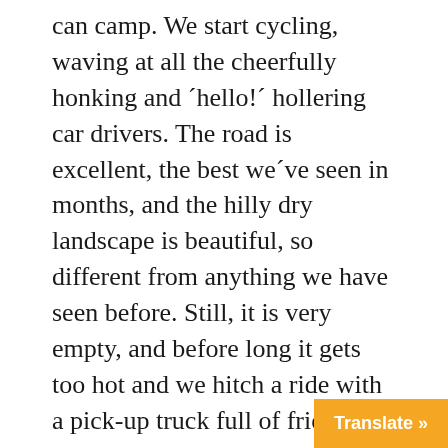can camp. We start cycling, waving at all the cheerfully honking and ´hello!´ hollering car drivers. The road is excellent, the best we´ve seen in months, and the hilly dry landscape is beautiful, so different from anything we have seen before. Still, it is very empty, and before long it gets too hot and we hitch a ride with a pick-up truck full of friendly businessmen. They are a bit sceptical about our idea of being dropped off in Varziqan and questioning if we really want to go there. They tell us that the whole town has been flattened by and earthquake about 4 years ago and we can see new buildings being built up all around. The city is a landscape of reinforced concrete, iron beams sticking up into the crisp b
Translate »